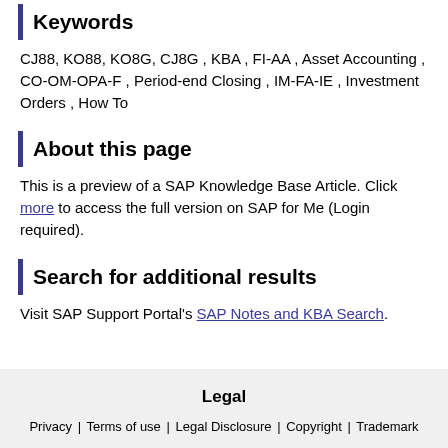Keywords
CJ88, KO88, KO8G, CJ8G , KBA , FI-AA , Asset Accounting , CO-OM-OPA-F , Period-end Closing , IM-FA-IE , Investment Orders , How To
About this page
This is a preview of a SAP Knowledge Base Article. Click more to access the full version on SAP for Me (Login required).
Search for additional results
Visit SAP Support Portal's SAP Notes and KBA Search.
Legal
Privacy | Terms of use | Legal Disclosure | Copyright | Trademark